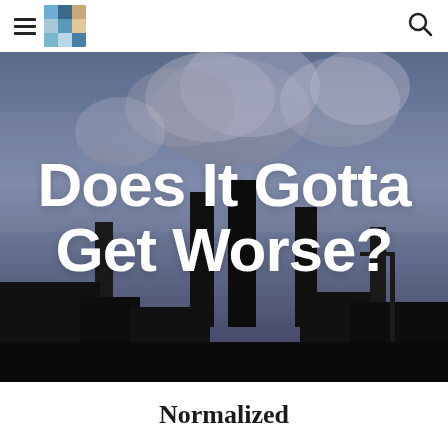≡ [logo] [search]
[Figure (photo): Industrial factory scene with tall smokestacks emitting large plumes of dark smoke against a blue-grey sky at dusk or dawn. Dark silhouette of industrial buildings in the foreground.]
Does It Gotta Get Worse?
Normalized